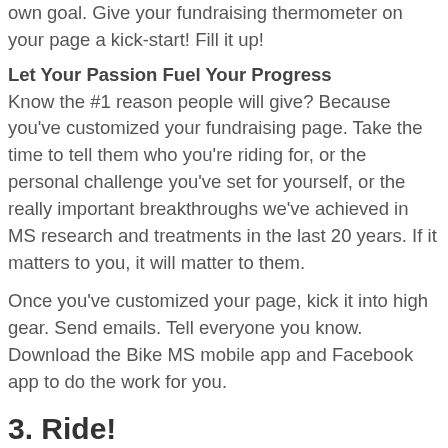own goal. Give your fundraising thermometer on your page a kick-start! Fill it up!
Let Your Passion Fuel Your Progress
Know the #1 reason people will give? Because you've customized your fundraising page. Take the time to tell them who you're riding for, or the personal challenge you've set for yourself, or the really important breakthroughs we've achieved in MS research and treatments in the last 20 years. If it matters to you, it will matter to them.
Once you've customized your page, kick it into high gear. Send emails. Tell everyone you know. Download the Bike MS mobile app and Facebook app to do the work for you.
3. Ride!